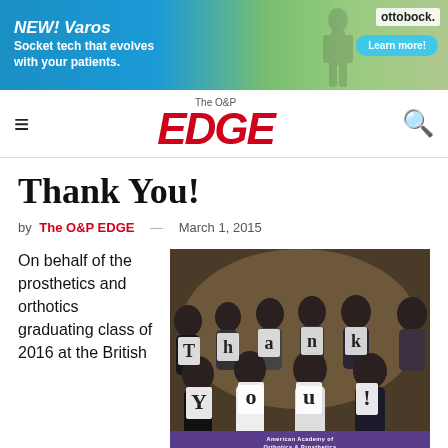[Figure (photo): Ottobock banner advertisement for NEW! Varos socket technology with text 'Socket tech that evolves with your patients.' and a Learn more! button]
The O&P EDGE
Thank You!
by The O&P EDGE — March 1, 2015
On behalf of the prosthetics and orthotics graduating class of 2016 at the British
[Figure (photo): Group photo of prosthetics and orthotics graduating class of 2016 holding letters spelling 'Thank You!' at what appears to be the American Academy of Orthotics & Prosthetics 41st Annual Meeting & Scientific Symposium]